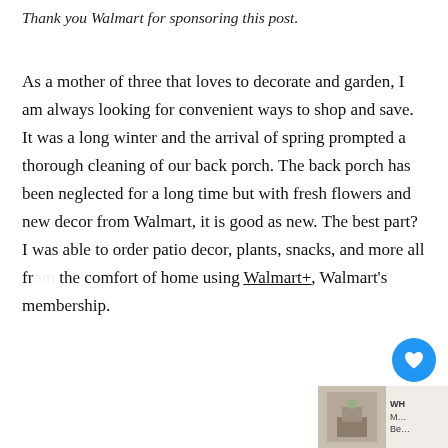Thank you Walmart for sponsoring this post.
As a mother of three that loves to decorate and garden, I am always looking for convenient ways to shop and save. It was a long winter and the arrival of spring prompted a thorough cleaning of our back porch. The back porch has been neglected for a long time but with fresh flowers and new decor from Walmart, it is good as new. The best part? I was able to order patio decor, plants, snacks, and more all from the comfort of home using Walmart+, Walmart's membership.